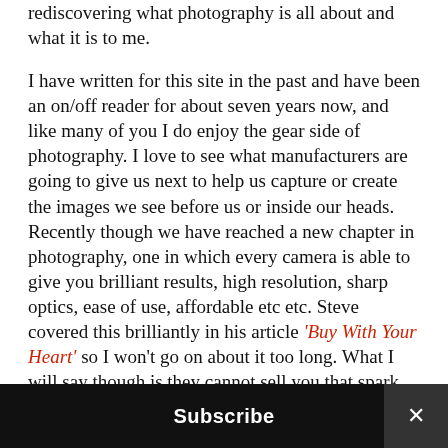rediscovering what photography is all about and what it is to me.
I have written for this site in the past and have been an on/off reader for about seven years now, and like many of you I do enjoy the gear side of photography. I love to see what manufacturers are going to give us next to help us capture or create the images we see before us or inside our heads.
Recently though we have reached a new chapter in photography, one in which every camera is able to give you brilliant results, high resolution, sharp optics, ease of use, affordable etc etc. Steve covered this brilliantly in his article 'Buy With Your Heart' so I won't go on about it too long. What I will say though is they cannot sell you that spark that makes you
Subscribe ×